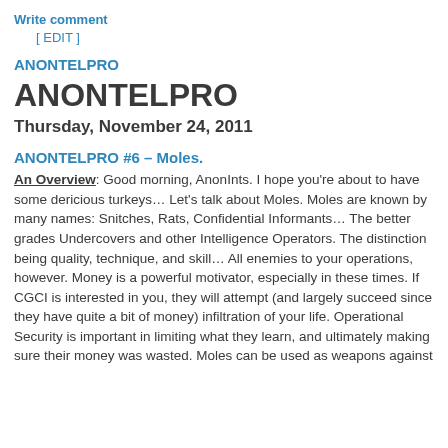Write comment
[ EDIT ]
ANONTELPRO
ANONTELPRO
Thursday, November 24, 2011
ANONTELPRO #6 – Moles.
An Overview: Good morning, AnonInts. I hope you're about to have some dericious turkeys… Let's talk about Moles. Moles are known by many names: Snitches, Rats, Confidential Informants… The better grades Undercovers and other Intelligence Operators. The distinction being quality, technique, and skill… All enemies to your operations, however. Money is a powerful motivator, especially in these times. If CGCI is interested in you, they will attempt (and largely succeed since they have quite a bit of money) infiltration of your life. Operational Security is important in limiting what they learn, and ultimately making sure their money was wasted. Moles can be used as weapons against